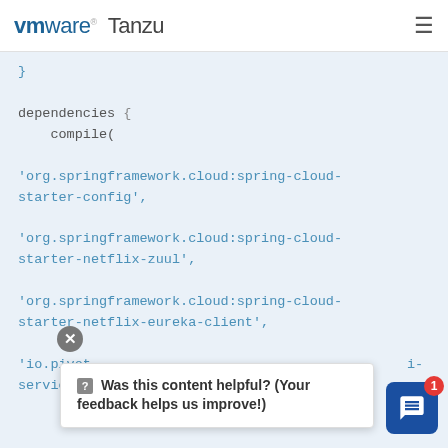vmware Tanzu
[Figure (screenshot): Code block on light blue background showing Gradle build dependencies block including spring-cloud-starter-config, spring-cloud-starter-netflix-zuul, spring-cloud-starter-netflix-eureka-client, and io.pivotal dependencies]
Was this content helpful? (Your feedback helps us improve!)